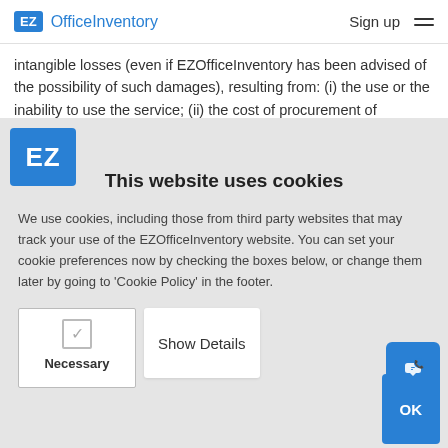EZ OfficeInventory   Sign up
intangible losses (even if EZOfficeInventory has been advised of the possibility of such damages), resulting from: (i) the use or the inability to use the service; (ii) the cost of procurement of substitute goods and services resulting from any goods, data, information or
This website uses cookies
We use cookies, including those from third party websites that may track your use of the EZOfficeInventory website. You can set your cookie preferences now by checking the boxes below, or change them later by going to 'Cookie Policy' in the footer.
Necessary
Show Details
OK